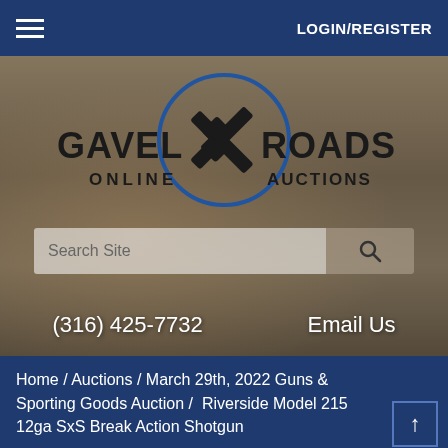LOGIN/REGISTER
[Figure (logo): Gavel Roads Online Auctions logo with two crossed gavels inside a blue circle, with text GAVEL ROADS ONLINE AUCTIONS]
Search Site
(316) 425-7732    Email Us
Home / Auctions / March 29th, 2022 Guns & Sporting Goods Auction /  Riverside Model 215 12ga SxS Break Action Shotgun
Back to Catalog